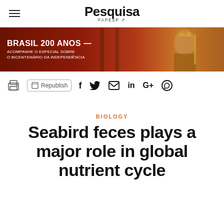Pesquisa FAPESP
[Figure (photo): Banner image for Brasil 200 Anos special featuring a historical painting with a figure in royal regalia. Text overlay reads: BRASIL 200 ANOS — ACOMPANHE O ESPECIAL SOBRE O BICENTENÁRIO DA INDEPENDÊNCIA]
Republish (toolbar with print and social sharing icons: print, republish, Facebook, Twitter, email, LinkedIn, Google+, WhatsApp)
BIOLOGY
Seabird feces plays a major role in global nutrient cycle